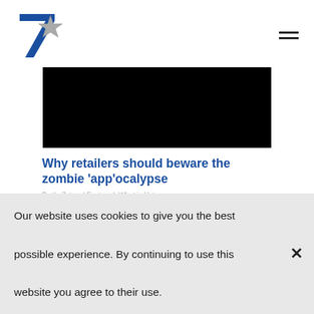7stars logo and navigation
[Figure (photo): Black rectangular hero image area]
Why retailers should beware the zombie ‘app’ocalypse
By the7stars | Featured, What is Hot...
Our website uses cookies to give you the best possible experience. By continuing to use this website you agree to their use.